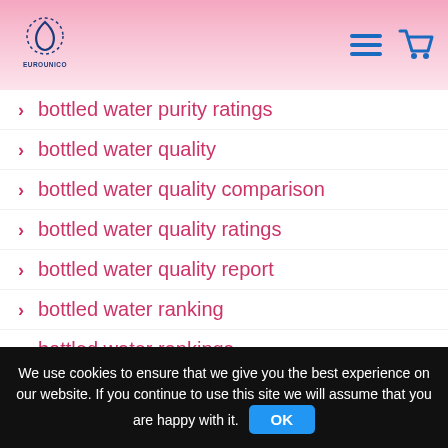EUROUNICO logo with navigation icons
bottled water purity ratings
bottled water quality
bottled water quality comparison
bottled water quality ratings
bottled water quality report
bottled water ranking
bottled water rankings
bottled water ratings
We use cookies to ensure that we give you the best experience on our website. If you continue to use this site we will assume that you are happy with it. OK